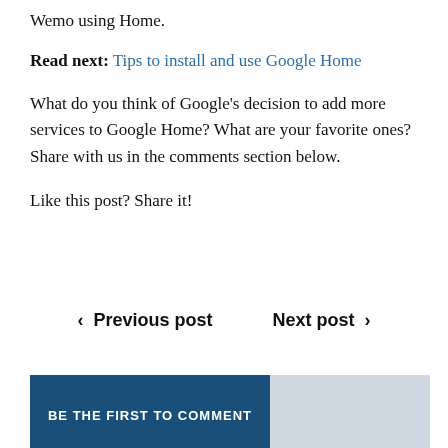Wemo using Home.
Read next: Tips to install and use Google Home
What do you think of Google's decision to add more services to Google Home? What are your favorite ones? Share with us in the comments section below.
Like this post? Share it!
‹ Previous post   Next post ›
BE THE FIRST TO COMMENT